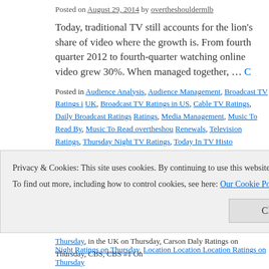Posted on August 29, 2014 by overtheshouldermlb
Today, traditional TV still accounts for the lion's share of video where the growth is. From fourth quarter 2012 to fourth-quarter watching online video grew 30%. When managed together, …
Posted in Audience Analysis, Audience Management, Broadcast TV Ratings in UK, Broadcast TV Ratings in US, Cable TV Ratings, Daily Broadcast Ratings, Ratings, Media Management, Music To Read By, Music To Read overtheshou, Renewals, Television Ratings, Thursday Night TV Ratings, Today In TV Histo
Tagged 'The Late Show with David Letterman' ratings on Thursday, A Current Ratings on Thursday, ABC1 News Ratings on Thursday, America's Got Talent Cable Program on Wednesday, Audience Analysis, Audience Behavior, Audie on Thursday, BBC One, BBC One #1 In The UK on Thursday, BBC One Rati Ratings on Thursday, BBC Two, BBC Two Ratings on Thursday, Big Bang Th on Thursday, Big Brother Ratings on Thursday, Bones Ratings on Thursday, in the UK on Thursday, Carson Daly Ratings on Thursday, CBS, CBS #1 On
Privacy & Cookies: This site uses cookies. By continuing to use this website, you agree to their use.
To find out more, including how to control cookies, see here: Our Cookie Policy
Night Ratings on Thursday, Location Location Location Ratings on Thursday